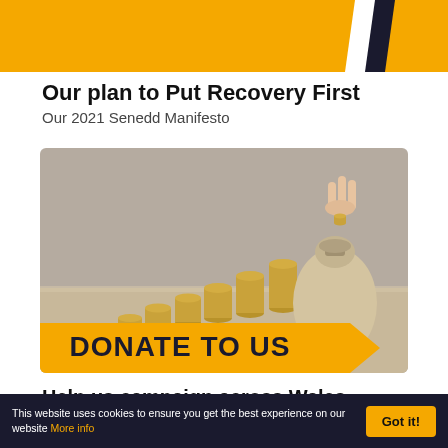[Figure (illustration): Yellow and dark diagonal striped header banner with white stripe accent]
Our plan to Put Recovery First
Our 2021 Senedd Manifesto
[Figure (photo): Photo of stacked coins in ascending height order leading to a money bag, with a hand dropping a coin in. Yellow arrow banner overlay reads DONATE TO US]
Help us campaign across Wales
This website uses cookies to ensure you get the best experience on our website More info  Got it!